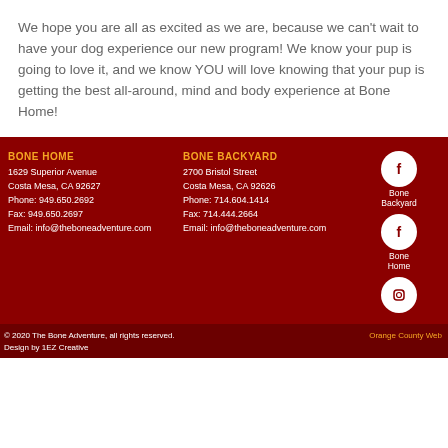We hope you are all as excited as we are, because we can't wait to have your dog experience our new program! We know your pup is going to love it, and we know YOU will love knowing that your pup is getting the best all-around, mind and body experience at Bone Home!
BONE HOME
1629 Superior Avenue
Costa Mesa, CA 92627
Phone: 949.650.2692
Fax: 949.650.2697
Email: info@theboneadventure.com
BONE BACKYARD
2700 Bristol Street
Costa Mesa, CA 92626
Phone: 714.604.1414
Fax: 714.444.2664
Email: info@theboneadventure.com
[Figure (illustration): Social media icons: Facebook icon for Bone Backyard, Facebook icon for Bone Home, Instagram icon, partial logo visible]
© 2020 The Bone Adventure, all rights reserved.
Design by 1EZ Creative
Orange County Web